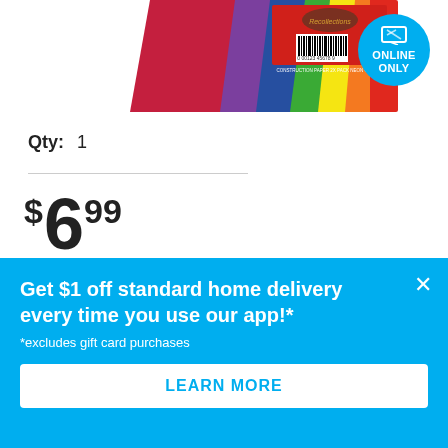[Figure (photo): Product image of colorful construction paper pack with barcode label, shown partially cropped at top of page]
[Figure (infographic): Online Only badge - circular blue badge with laptop icon and text ONLINE ONLY]
Qty: 1
$6.99
Get $1 off standard home delivery every time you use our app!*
*excludes gift card purchases
LEARN MORE